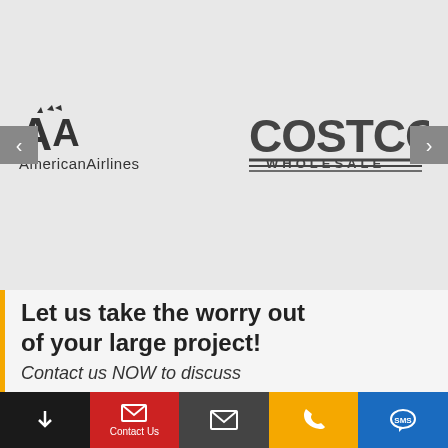[Figure (logo): American Airlines logo (grayscale) and Costco Wholesale logo (grayscale) in a carousel slider with left/right navigation arrows]
Let us take the worry out of your large project!
Contact us NOW to discuss
[Figure (infographic): Footer navigation bar with four buttons: black arrow-down button, red Contact Us button with envelope icon, dark gray email button with envelope icon, gold phone button, blue SMS button]